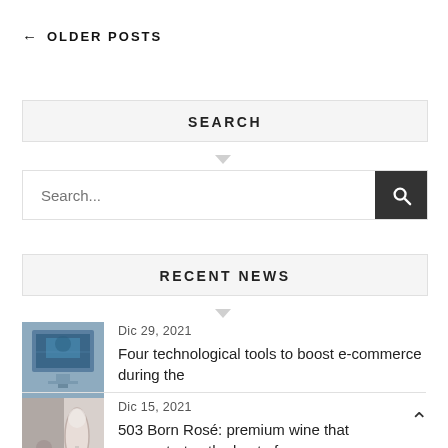← OLDER POSTS
SEARCH
Search...
RECENT NEWS
Dic 29, 2021
Four technological tools to boost e-commerce during the
[Figure (photo): Thumbnail of a computer monitor on a desk]
Dic 15, 2021
503 Born Rosé: premium wine that concentrates the best of
[Figure (photo): Thumbnail of a wine glass]